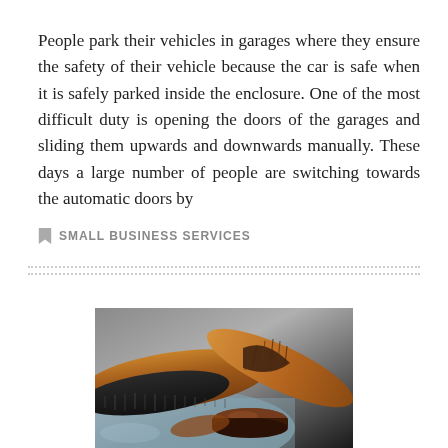People park their vehicles in garages where they ensure the safety of their vehicle because the car is safe when it is safely parked inside the enclosure. One of the most difficult duty is opening the doors of the garages and sliding them upwards and downwards manually. These days a large number of people are switching towards the automatic doors by
SMALL BUSINESS SERVICES
[Figure (photo): Close-up photo of shoe brushes and a tin of shoe polish on a cloth background. Wooden-handled brushes with dark bristles are visible.]